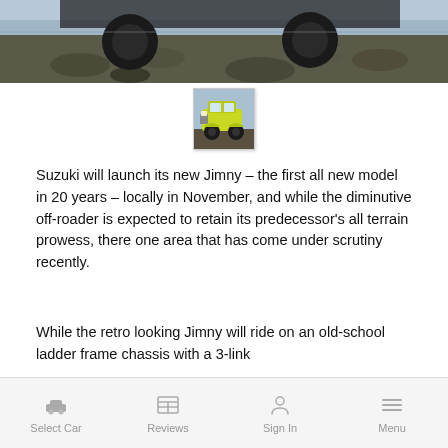[Figure (photo): Hero image showing the undercarriage and wheels of an SUV driving over rocky terrain, dark outdoor scene]
[Figure (photo): Small thumbnail image of a yellow/green Suzuki Jimny on rocky terrain, viewed from the front-right]
Suzuki will launch its new Jimny – the first all new model in 20 years – locally in November, and while the diminutive off-roader is expected to retain its predecessor's all terrain prowess, there one area that has come under scrutiny recently.
While the retro looking Jimny will ride on an old-school ladder frame chassis with a 3-link
form of hill descent control, hill start assist